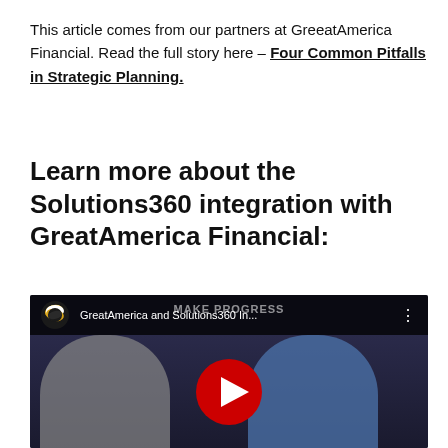This article comes from our partners at GreatAmerica Financial. Read the full story here – Four Common Pitfalls in Strategic Planning.
Learn more about the Solutions360 integration with GreatAmerica Financial:
[Figure (screenshot): YouTube video thumbnail showing two men being interviewed at a conference venue with a 'Make Progress' banner. The video title reads 'GreatAmerica and Solutions360 In...' with the YouTube player interface.]